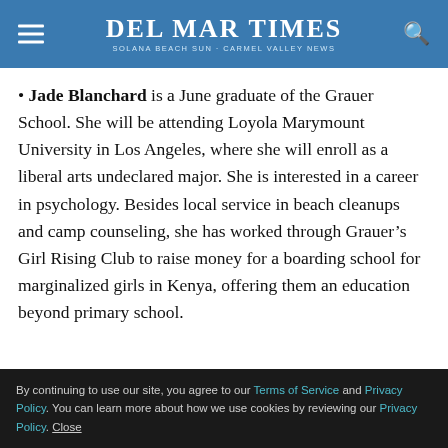Del Mar Times – Solana Beach Sun·Carmel Valley News
Jade Blanchard is a June graduate of the Grauer School. She will be attending Loyola Marymount University in Los Angeles, where she will enroll as a liberal arts undeclared major. She is interested in a career in psychology. Besides local service in beach cleanups and camp counseling, she has worked through Grauer's Girl Rising Club to raise money for a boarding school for marginalized girls in Kenya, offering them an education beyond primary school.
By continuing to use our site, you agree to our Terms of Service and Privacy Policy. You can learn more about how we use cookies by reviewing our Privacy Policy. Close